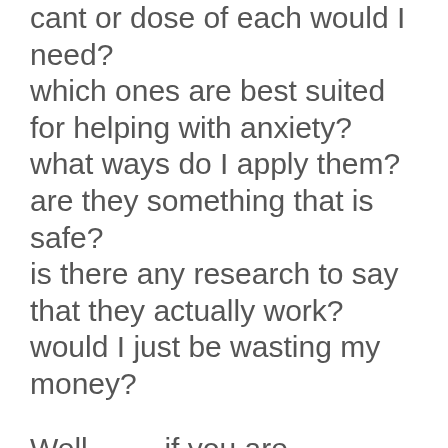cant or dose of each would I need?
which ones are best suited for helping with anxiety?
what ways do I apply them?
are they something that is safe?
is there any research to say that they actually work?
would I just be wasting my money?
Well …… if you are considering essential oils as ingredients i